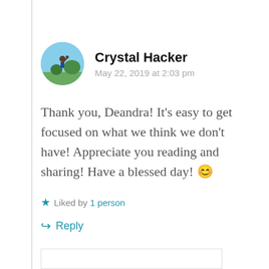[Figure (photo): Circular avatar photo of Crystal Hacker, showing a person outdoors with blue sky and trees]
Crystal Hacker
May 22, 2019 at 2:03 pm
Thank you, Deandra! It's easy to get focused on what we think we don't have! Appreciate you reading and sharing! Have a blessed day! 😊
★ Liked by 1 person
↪ Reply